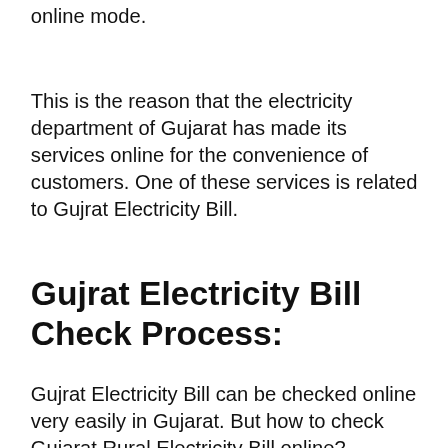online mode.
This is the reason that the electricity department of Gujarat has made its services online for the convenience of customers. One of these services is related to Gujrat Electricity Bill.
Gujrat Electricity Bill Check Process:
Gujrat Electricity Bill can be checked online very easily in Gujarat. But how to check Gujarat Rural Electricity Bill online?
[Figure (other): Purple rounded button with text 'Join Our Whatsapp Group' and WhatsApp icon]
step. After learning that, you will learn to